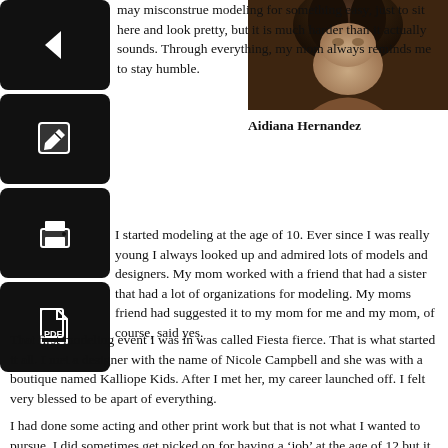may misconstrue modeling for something easy, just to sit here and look pretty, but it is much harder than it actually sounds. Through everything, my mom always reminds me to stay humble.
[Figure (photo): Close-up photo of Aidiana Hernandez with curly hair]
Aidiana Hernandez
I started modeling at the age of 10. Ever since I was really young I always looked up and admired lots of models and designers. My mom worked with a friend that had a sister that had a lot of organizations for modeling. My moms friend had suggested it to my mom for me and my mom, of course, said yes.
That first modeling event I was in was called Fiesta fierce. That is what started it all. I met a designer with the name of Nicole Campbell and she was with a boutique named Kalliope Kids. After I met her, my career launched off. I felt very blessed to be apart of everything.
I had done some acting and other print work but that is not what I wanted to pursue. I did sometimes get picked on for having a ‘job’ at the age of 12 but it was something I have always wanted to do. Whenever I had any struggles I gave it to God, this was his plan for me and he was always by my side in everything. I always had amazing friends to support me through everything, like my best friends today Mona Casas and Lauren Gray.